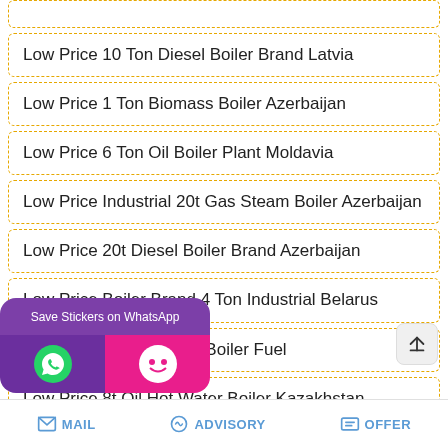Low Price 10 Ton Diesel Boiler Brand Latvia
Low Price 1 Ton Biomass Boiler Azerbaijan
Low Price 6 Ton Oil Boiler Plant Moldavia
Low Price Industrial 20t Gas Steam Boiler Azerbaijan
Low Price 20t Diesel Boiler Brand Azerbaijan
Low Price Boiler Brand 4 Ton Industrial Belarus
Low Pressure Industrial Boiler Fuel
Low Price 8t Oil Hot Water Boiler Kazakhstan
...nt Industrial 20t Tajikistan
MAIL   ADVISORY   OFFER